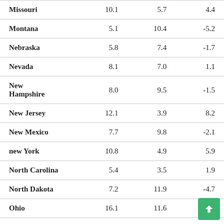| Missouri | 10.1 | 5.7 | 4.4 |
| Montana | 5.1 | 10.4 | -5.2 |
| Nebraska | 5.8 | 7.4 | -1.7 |
| Nevada | 8.1 | 7.0 | 1.1 |
| New Hampshire | 8.0 | 9.5 | -1.5 |
| New Jersey | 12.1 | 3.9 | 8.2 |
| New Mexico | 7.7 | 9.8 | -2.1 |
| new York | 10.8 | 4.9 | 5.9 |
| North Carolina | 5.4 | 3.5 | 1.9 |
| North Dakota | 7.2 | 11.9 | -4.7 |
| Ohio | 16.1 | 11.6 | 4.5 |